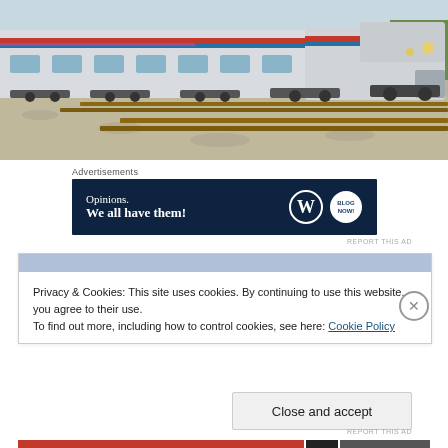[Figure (photo): Amtrak passenger train on railroad tracks, side and front view, with gravel ballast in foreground]
Advertisements
[Figure (other): Advertisement banner: 'Opinions. We all have them!' with WordPress logo and another circular logo on dark blue background]
REPORT THIS AD
Privacy & Cookies: This site uses cookies. By continuing to use this website, you agree to their use.
To find out more, including how to control cookies, see here: Cookie Policy
Close and accept
REPORT THIS AD